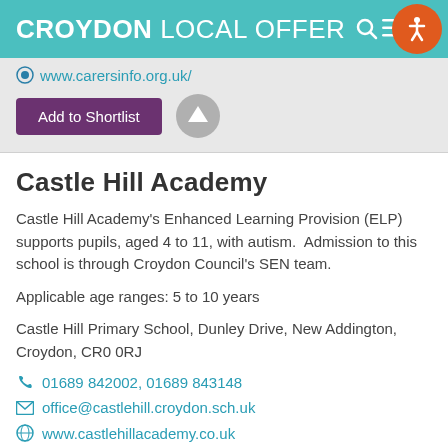CROYDON LOCAL OFFER
www.carersinfo.org.uk/
Add to Shortlist
Castle Hill Academy
Castle Hill Academy's Enhanced Learning Provision (ELP) supports pupils, aged 4 to 11, with autism.  Admission to this school is through Croydon Council's SEN team.
Applicable age ranges: 5 to 10 years
Castle Hill Primary School, Dunley Drive, New Addington, Croydon, CR0 0RJ
01689 842002, 01689 843148
office@castlehill.croydon.sch.uk
www.castlehillacademy.co.uk